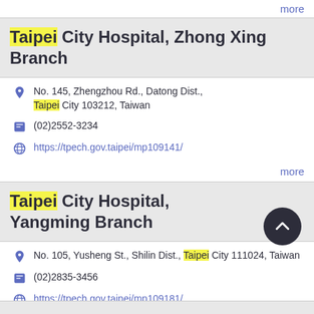more
Taipei City Hospital, Zhong Xing Branch
No. 145, Zhengzhou Rd., Datong Dist., Taipei City 103212, Taiwan
(02)2552-3234
https://tpech.gov.taipei/mp109141/
more
Taipei City Hospital, Yangming Branch
No. 105, Yusheng St., Shilin Dist., Taipei City 111024, Taiwan
(02)2835-3456
https://tpech.gov.taipei/mp109181/
more